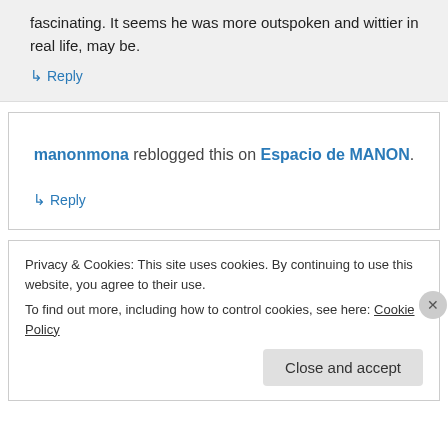fascinating. It seems he was more outspoken and wittier in real life, may be.
↳ Reply
manonmona reblogged this on Espacio de MANON.
↳ Reply
Privacy & Cookies: This site uses cookies. By continuing to use this website, you agree to their use.
To find out more, including how to control cookies, see here: Cookie Policy